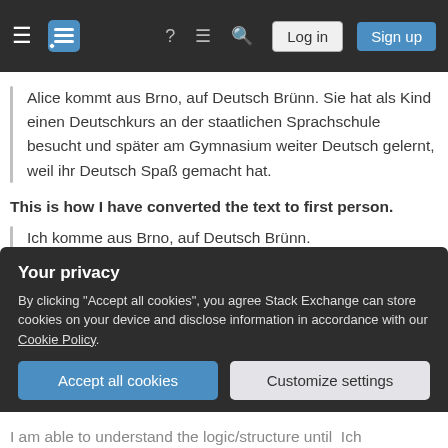Stack Exchange navigation bar with Log in and Sign up buttons
Alice kommt aus Brno, auf Deutsch Brünn. Sie hat als Kind einen Deutschkurs an der staatlichen Sprachschule besucht und später am Gymnasium weiter Deutsch gelernt, weil ihr Deutsch Spaß gemacht hat.
This is how I have converted the text to first person.
Ich komme aus Brno, auf Deutsch Brünn. Ich habe als Kind einen Deutschkurs an der
Your privacy
By clicking "Accept all cookies", you agree Stack Exchange can store cookies on your device and disclose information in accordance with our Cookie Policy.
Accept all cookies
Customize settings
I am able to understand the logic/structure until Ich